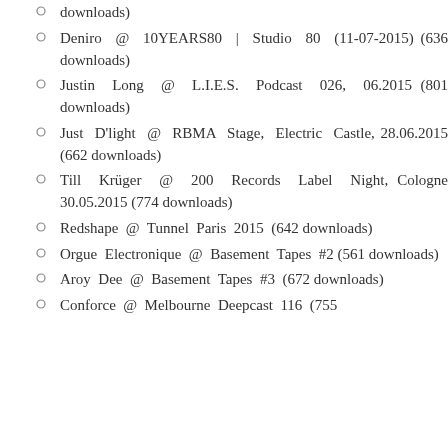downloads)
Deniro @ 10YEARS80 | Studio 80 (11-07-2015) (636 downloads)
Justin Long @ L.I.E.S. Podcast 026, 06.2015 (801 downloads)
Just D'light @ RBMA Stage, Electric Castle, 28.06.2015 (662 downloads)
Till Krüger @ 200 Records Label Night, Cologne 30.05.2015 (774 downloads)
Redshape @ Tunnel Paris 2015 (642 downloads)
Orgue Electronique @ Basement Tapes #2 (561 downloads)
Aroy Dee @ Basement Tapes #3 (672 downloads)
Conforce @ Melbourne Deepcast 116 (755